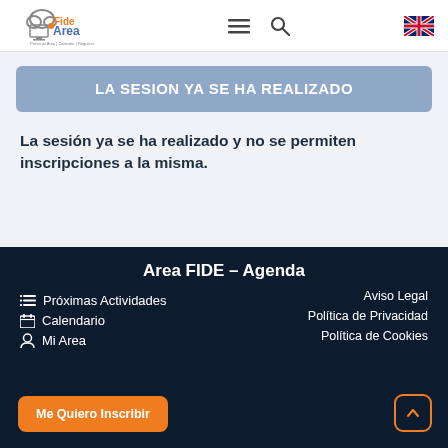FideArea – Personal Area | Calendar | Registration
LA SESION YA SE HA REALIZADO
La sesión ya se ha realizado y no se permiten inscripciones a la misma.
Area FIDE – Agenda
Próximas Actividades
Calendario
Mi Area
Aviso Legal
Política de Privacidad
Política de Cookies